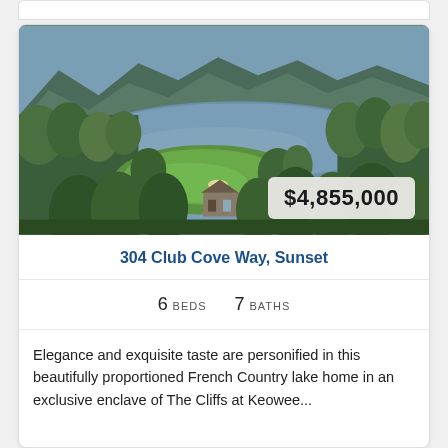[Figure (photo): Aerial view of a lakefront property with golf course, surrounded by dense green forest and mountains in background. A French Country style home is visible among the trees near the water.]
304 Club Cove Way, Sunset
6 BEDS   7 BATHS
Elegance and exquisite taste are personified in this beautifully proportioned French Country lake home in an exclusive enclave of The Cliffs at Keowee...